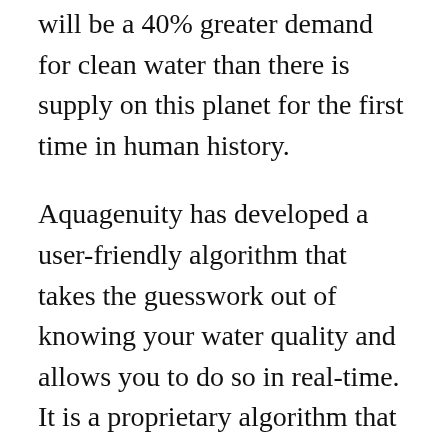will be a 40% greater demand for clean water than there is supply on this planet for the first time in human history.
Aquagenuity has developed a user-friendly algorithm that takes the guesswork out of knowing your water quality and allows you to do so in real-time. It is a proprietary algorithm that transforms raw water quality data from disparate sources into a score, from 0-100, which makes it as easy to check hyperlocal water quality as it is to check the weather.
“The algorithm we use is called ‘aquascore,’ it